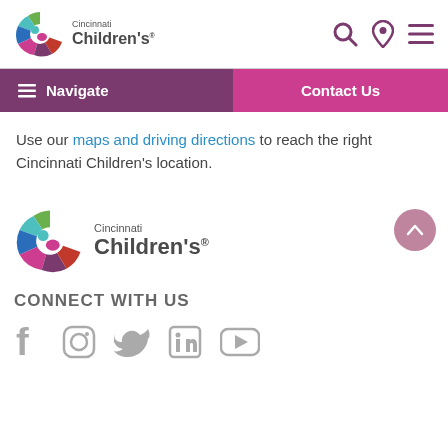[Figure (logo): Cincinnati Children's logo in header]
[Figure (other): Search, location pin, and hamburger menu icons]
[Figure (other): Navigate button with hamburger icon]
[Figure (other): Contact Us button]
Use our maps and driving directions to reach the right Cincinnati Children's location.
[Figure (logo): Cincinnati Children's footer logo]
CONNECT WITH US
[Figure (other): Social media icons: Facebook, Instagram, Twitter, LinkedIn, YouTube]